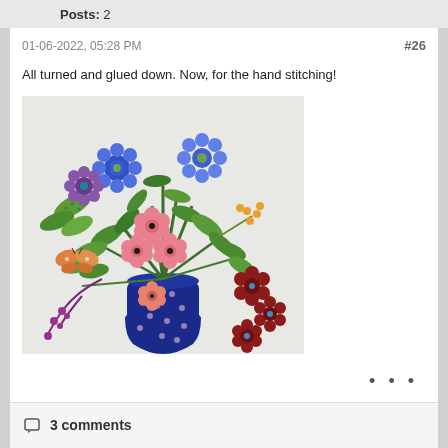Posts: 2
01-06-2022, 05:28 PM
#26
All turned and glued down. Now, for the hand stitching!
[Figure (photo): Appliqué quilt block showing a blue decorative vase with colorful flowers including blue, pink, and purple blooms with green leaves, berry branches, a butterfly, and dark red flowers on the right side, all on a white fabric background.]
• • •
3 comments